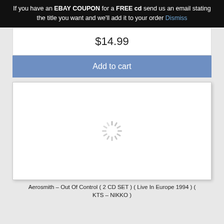If you have an EBAY COUPON for a FREE cd send us an email stating the title you want and we'll add it to your order Dismiss
$14.99
Add to cart
[Figure (other): Loading spinner / placeholder image area showing a spinning loader icon on white background]
Aerosmith – Out Of Control ( 2 CD SET ) ( Live In Europe 1994 ) ( KTS – NIKKO )